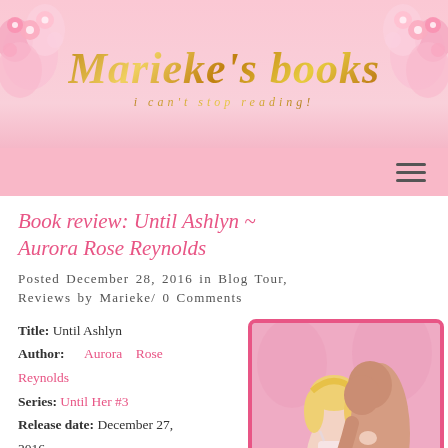Marieke's books / I CAN'T STOP READING!
Book review: Until Ashlyn ~ Aurora Rose Reynolds
Posted December 28, 2016 in Blog Tour, Reviews by Marieke/ 0 Comments
Title: Until Ashlyn
Author: Aurora Rose Reynolds
Series: Until Her #3
Release date: December 27, 2016
(Sub)genres: Alpha, Contemporary Romance
Pages: 225
[Figure (photo): Book cover of 'Until Ashlyn' showing a romantic couple, a blonde woman and a shirtless man embracing, with pink background.]